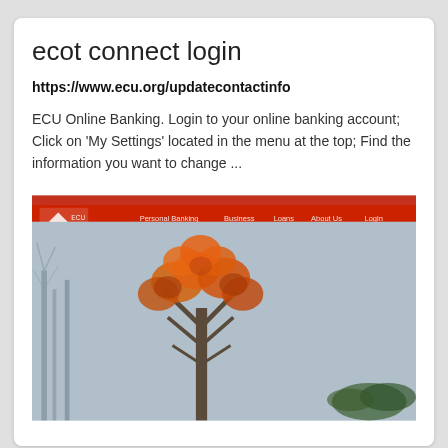ecot connect login
https://www.ecu.org/updatecontactinfo
ECU Online Banking. Login to your online banking account; Click on 'My Settings' located in the menu at the top; Find the information you want to change ...
[Figure (screenshot): Screenshot of ECU (East Carolina University or ECU credit union) website with a red header navigation bar, a logo on the left, navigation links, and a background showing winter trees with orange/red foliage against a grey-blue sky.]
onyontis email login